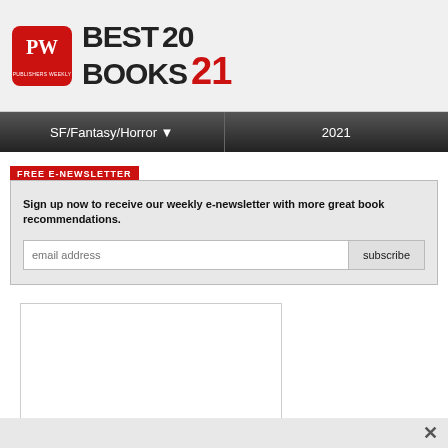[Figure (logo): Publishers Weekly PW Best Books 2021 logo with red PW square icon and bold BEST BOOKS 2021 text]
SF/Fantasy/Horror ▼    2021
FREE E-NEWSLETTER
Sign up now to receive our weekly e-newsletter with more great book recommendations.
[Figure (screenshot): Email address input field with placeholder text 'email address' and a 'subscribe' button]
[Figure (other): White advertisement placeholder box]
X